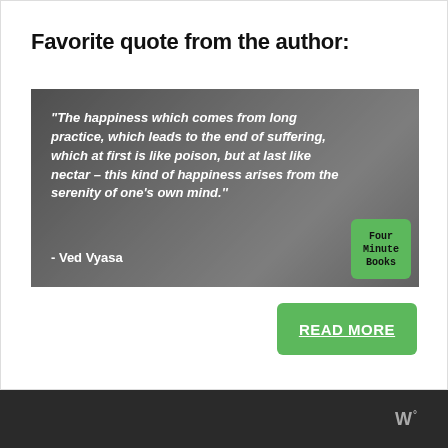Favorite quote from the author:
[Figure (photo): Quote image with a woman smiling against a grey background. White bold text reads: “The happiness which comes from long practice, which leads to the end of suffering, which at first is like poison, but at last like nectar – this kind of happiness arises from the serenity of one’s own mind.” - Ved Vyasa. A green Four Minute Books logo badge in the bottom right corner.]
READ MORE
W°